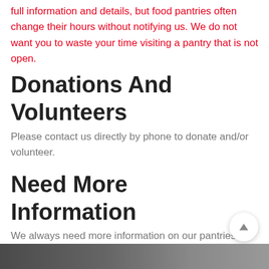full information and details, but food pantries often change their hours without notifying us. We do not want you to waste your time visiting a pantry that is not open.
Donations And Volunteers
Please contact us directly by phone to donate and/or volunteer.
Need More Information
We always need more information on our pantries. If you know of any details, volunteer information, website, hours or more description information about Mercy Center please add a comment below with information. We will then display this for all visitors on this page.
[Figure (photo): Bottom partial image, appears to be a photo, mostly dark/grey tones]